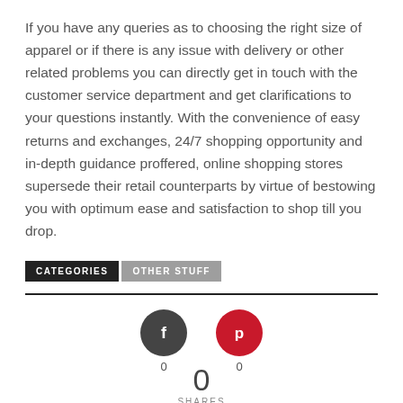If you have any queries as to choosing the right size of apparel or if there is any issue with delivery or other related problems you can directly get in touch with the customer service department and get clarifications to your questions instantly. With the convenience of easy returns and exchanges, 24/7 shopping opportunity and in-depth guidance proffered, online shopping stores supersede their retail counterparts by virtue of bestowing you with optimum ease and satisfaction to shop till you drop.
CATEGORIES   OTHER STUFF
[Figure (infographic): Social sharing buttons: Facebook (dark grey circle with f icon, count 0) and Pinterest (red circle with p icon, count 0), with a total share count of 0 and SHARES label below]